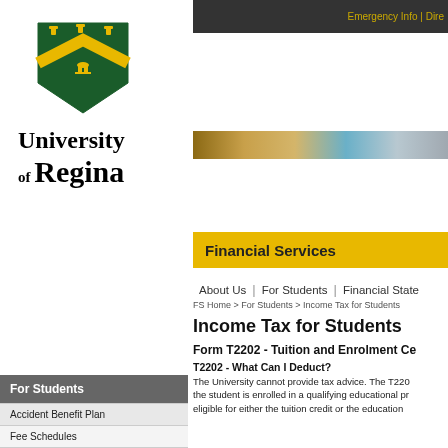Emergency Info | Dire...
[Figure (logo): University of Regina crest and wordmark logo]
[Figure (photo): Banner strip with photos of students and campus]
Financial Services
About Us | For Students | Financial State...
FS Home > For Students > Income Tax for Students
Income Tax for Students
Form T2202 - Tuition and Enrolment Ce...
T2202 - What Can I Deduct?
The University cannot provide tax advice. The T220... the student is enrolled in a qualifying educational pr... eligible for either the tuition credit or the education...
For Students
Accident Benefit Plan
Fee Schedules
Frequently Asked Questions